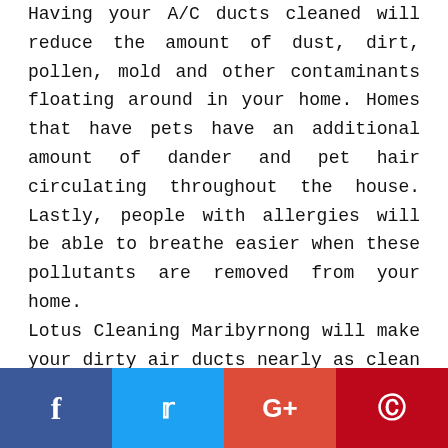Having your A/C ducts cleaned will reduce the amount of dust, dirt, pollen, mold and other contaminants floating around in your home. Homes that have pets have an additional amount of dander and pet hair circulating throughout the house. Lastly, people with allergies will be able to breathe easier when these pollutants are removed from your home. Lotus Cleaning Maribyrnong will make your dirty air ducts nearly as clean as the day they were installed. Keeping your air ducts clean will reduce your heating and cooling expenses, and Lotus Cleaning Maribyrnong has the experts to make sure that your air ducts are clean and pollutant free. Our technicians are trained and have the skills to clean, repair, seal, insulate and maintain your air ducts
f  Twitter  G+  Pinterest